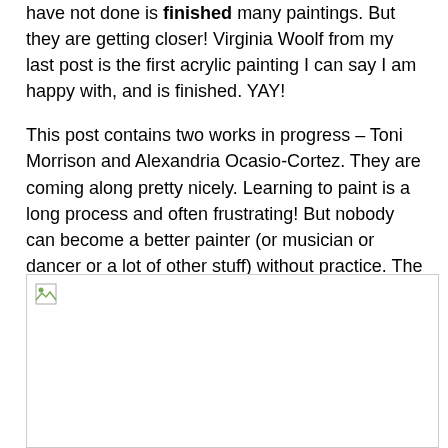have not done is finished many paintings. But they are getting closer! Virginia Woolf from my last post is the first acrylic painting I can say I am happy with, and is finished. YAY!
This post contains two works in progress – Toni Morrison and Alexandria Ocasio-Cortez. They are coming along pretty nicely. Learning to paint is a long process and often frustrating! But nobody can become a better painter (or musician or dancer or a lot of other stuff) without practice. The trick is just to keep going!
[Figure (photo): Broken/missing image placeholder with a small broken image icon in the top-left corner]